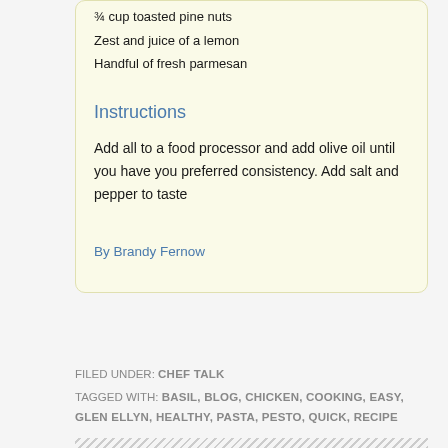¾ cup toasted pine nuts
Zest and juice of a lemon
Handful of fresh parmesan
Instructions
Add all to a food processor and add olive oil until you have you preferred consistency. Add salt and pepper to taste
By Brandy Fernow
FILED UNDER: CHEF TALK
TAGGED WITH: BASIL, BLOG, CHICKEN, COOKING, EASY, GLEN ELLYN, HEALTHY, PASTA, PESTO, QUICK, RECIPE